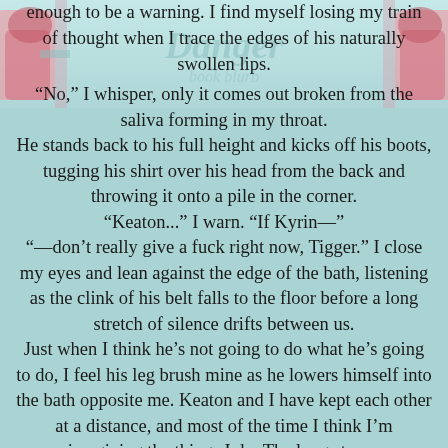[Figure (illustration): Decorative book cover illustration visible at top of page with pastel colors, partially obscured by text overlay]
enough to be a warning. I find myself losing my train of thought when I trace the edges of his naturally swollen lips.
"No," I whisper, only it comes out broken from the saliva forming in my throat.
He stands back to his full height and kicks off his boots, tugging his shirt over his head from the back and throwing it onto a pile in the corner.
"Keaton..." I warn. "If Kyrin—"
"—don't really give a fuck right now, Tigger." I close my eyes and lean against the edge of the bath, listening as the clink of his belt falls to the floor before a long stretch of silence drifts between us.
Just when I think he's not going to do what he's going to do, I feel his leg brush mine as he lowers himself into the bath opposite me. Keaton and I have kept each other at a distance, and most of the time I think I'm imagining the things I do. The long stares,